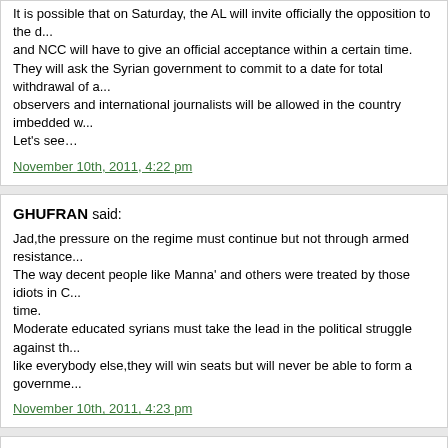It is possible that on Saturday, the AL will invite officially the opposition to the d... and NCC will have to give an official acceptance within a certain time.
They will ask the Syrian government to commit to a date for total withdrawal of a... observers and international journalists will be allowed in the country imbedded w...
Let's see…
November 10th, 2011, 4:22 pm
GHUFRAN said:
Jad,the pressure on the regime must continue but not through armed resistance...
The way decent people like Manna' and others were treated by those idiots in C... time.
Moderate educated syrians must take the lead in the political struggle against th... like everybody else,they will win seats but will never be able to form a governme...
November 10th, 2011, 4:23 pm
FRIEND IN AMERICA said:
Mjaboli at #1:
A couple of comments for your consideration:
• The world is very dynamic – therefore everyone's foreign policies are unstable...
•In the last 50 years everybody experienced loss of foreign policy objectives in t... Union, U.K., France, Egypt, Iraq and others. This instability varies from country ... everywhere.
• Several foreign policy desks in Washington did forecast the liklihood Syria wo... higher ups were unable to formulate a clear policy proposal for the President ar... the present administration.
• Your 4th paragraph cites the failure of the U.S. to effect a peaceful transfer of ... how would you suggest America could effect such a transfer without being accu... being a stooge of the west?
November 10th, 2011, 4:25 pm